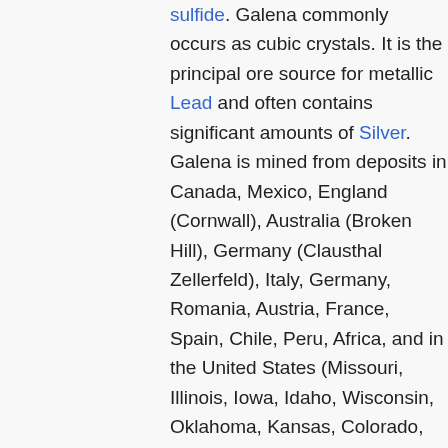sulfide. Galena commonly occurs as cubic crystals. It is the principal ore source for metallic Lead and often contains significant amounts of Silver. Galena is mined from deposits in Canada, Mexico, England (Cornwall), Australia (Broken Hill), Germany (Clausthal Zellerfeld), Italy, Germany, Romania, Austria, France, Spain, Chile, Peru, Africa, and in the United States (Missouri, Illinois, Iowa, Idaho, Wisconsin, Oklahoma, Kansas, Colorado, California). When crushed, lead sulfide is a black powder. In ancient Egypt, it was known as 'kohl' and was used as a cosmetic. Powdered galena was also used in glazes for medieval pottery and 17th century slipware. In the mid 20th century, it was used as a semiconductor in crystal radio sets. Lead